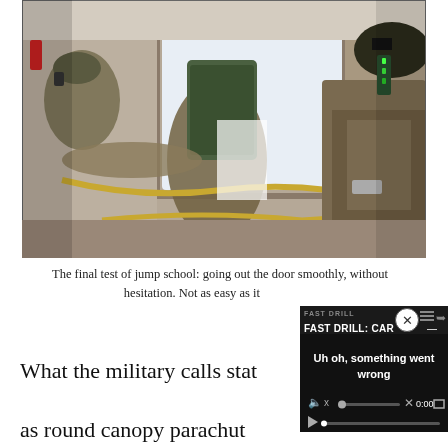[Figure (photo): Military personnel inside an aircraft, assisting a paratrooper going out the door during jump school training. Soldiers are in combat gear and helmets.]
The final test of jump school: going out the door smoothly, without hesitation. Not as easy as it looks for some.
[Figure (screenshot): Video player overlay showing 'FAST DRILL: CAR—' title and error message 'Uh oh, something went wrong' with playback controls showing 0:00 timestamp.]
What the military calls static line, also known as round canopy parachutes. For this portion of training,